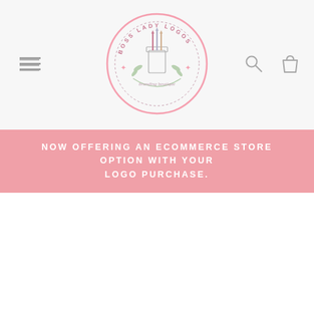[Figure (logo): Boss Lady Logos branding boutique circular logo with pink border, mason jar with brushes, floral wreath, and pink stars]
[Figure (illustration): Hamburger menu icon (three horizontal lines) on the left of the header navigation bar]
[Figure (illustration): Search (magnifying glass) and shopping cart icons on the right of the header navigation bar]
NOW OFFERING AN ECOMMERCE STORE OPTION WITH YOUR LOGO PURCHASE.
[Figure (illustration): Forever Lashes logo: watercolor feather with pink flowers on top and script text reading 'Forever Lashes' in gray, partially cut off at bottom]